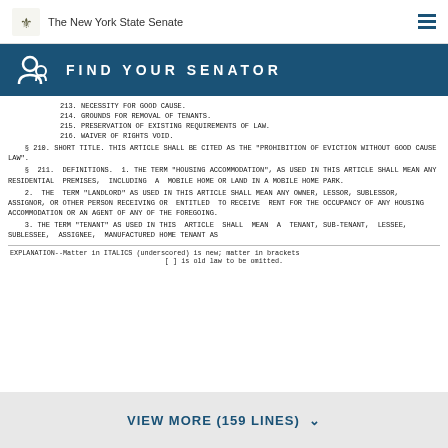The New York State Senate
FIND YOUR SENATOR
213. NECESSITY FOR GOOD CAUSE.
214. GROUNDS FOR REMOVAL OF TENANTS.
215. PRESERVATION OF EXISTING REQUIREMENTS OF LAW.
216. WAIVER OF RIGHTS VOID.
§ 210. SHORT TITLE. THIS ARTICLE SHALL BE CITED AS THE "PROHIBITION OF EVICTION WITHOUT GOOD CAUSE LAW".
§ 211. DEFINITIONS. 1. THE TERM "HOUSING ACCOMMODATION", AS USED IN THIS ARTICLE SHALL MEAN ANY RESIDENTIAL PREMISES, INCLUDING A MOBILE HOME OR LAND IN A MOBILE HOME PARK.
2. THE TERM "LANDLORD" AS USED IN THIS ARTICLE SHALL MEAN ANY OWNER, LESSOR, SUBLESSOR, ASSIGNOR, OR OTHER PERSON RECEIVING OR ENTITLED TO RECEIVE RENT FOR THE OCCUPANCY OF ANY HOUSING ACCOMMODATION OR AN AGENT OF ANY OF THE FOREGOING.
3. THE TERM "TENANT" AS USED IN THIS ARTICLE SHALL MEAN A TENANT, SUB-TENANT, LESSEE, SUBLESSEE, ASSIGNEE, MANUFACTURED HOME TENANT AS
EXPLANATION--Matter in ITALICS (underscored) is new; matter in brackets [ ] is old law to be omitted.
VIEW MORE (159 LINES)